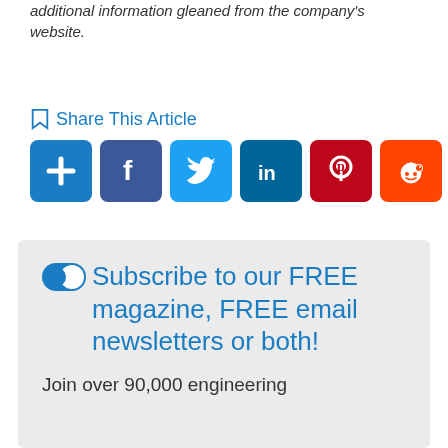additional information gleaned from the company's website.
Share This Article
[Figure (infographic): Social share buttons: AddThis (plus), Facebook, Twitter, LinkedIn, Pinterest, Reddit]
Subscribe to our FREE magazine, FREE email newsletters or both!

Join over 90,000 engineering